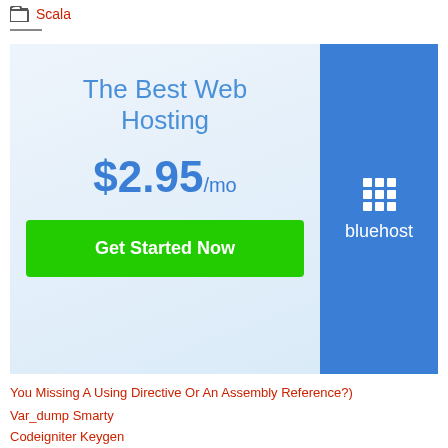Scala
[Figure (infographic): Bluehost web hosting advertisement banner. Left side has light blue gradient background with text 'The Best Web Hosting', price '$2.95/mo', and a green 'Get Started Now' button. Right side has solid blue background with Bluehost logo (grid icon and text 'bluehost').]
You Missing A Using Directive Or An Assembly Reference?)
Var_dump Smarty
Codeigniter Keygen